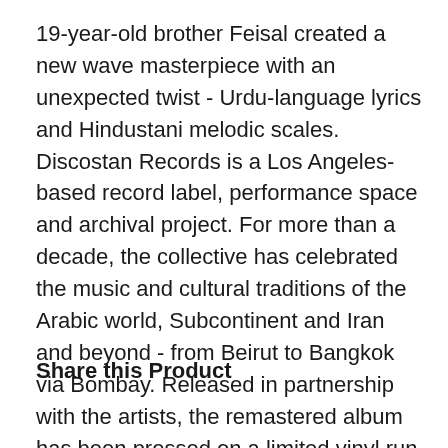19-year-old brother Feisal created a new wave masterpiece with an unexpected twist - Urdu-language lyrics and Hindustani melodic scales. Discostan Records is a Los Angeles-based record label, performance space and archival project. For more than a decade, the collective has celebrated the music and cultural traditions of the Arabic world, Subcontinent and Iran and beyond - from Beirut to Bangkok via Bombay. Released in partnership with the artists, the remastered album has been pressed on a limited vinyl run for a new generation of listeners. Each album comes with a download code.
Share this Product